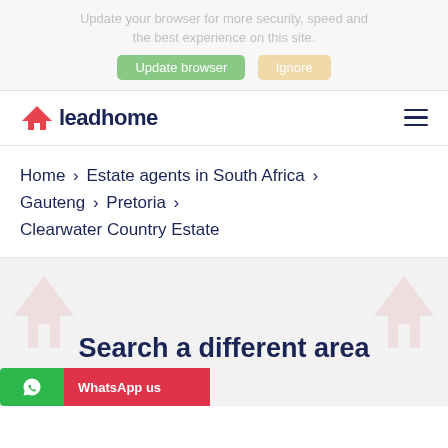Update your browser for more security, speed and the best experience on this site. Update browser Ignore
[Figure (logo): Leadhome logo — red roof icon with dark blue 'leadhome' wordmark]
Home > Estate agents in South Africa > Gauteng > Pretoria > Clearwater Country Estate
Search a different area
WhatsApp us